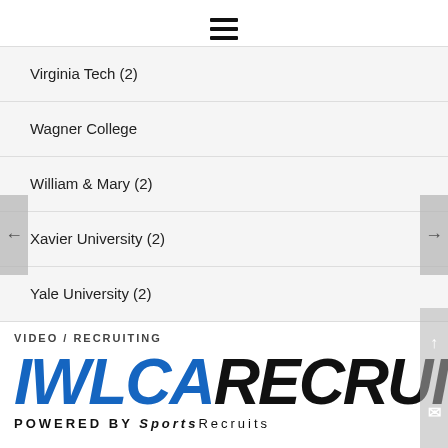≡
Virginia Tech (2)
Wagner College
William & Mary (2)
Xavier University (2)
Yale University (2)
VIDEO / RECRUITING
[Figure (logo): IWLCA RECRUITS logo in blue and black italic bold text, with 'POWERED BY SportsRecruits' below]